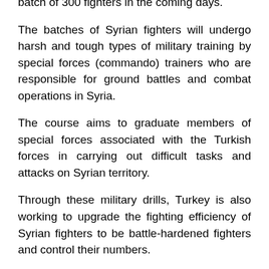batch of 300 fighters in the coming days.
The batches of Syrian fighters will undergo harsh and tough types of military training by special forces (commando) trainers who are responsible for ground battles and combat operations in Syria.
The course aims to graduate members of special forces associated with the Turkish forces in carrying out difficult tasks and attacks on Syrian territory.
Through these military drills, Turkey is also working to upgrade the fighting efficiency of Syrian fighters to be battle-hardened fighters and control their numbers.
Yesterday, May 16, SOHR sources reported that Turkish forces stationed at checkpoints and bases in “de-escalation” zone were put on high military alert, following the visit by a delegation of the Turkish